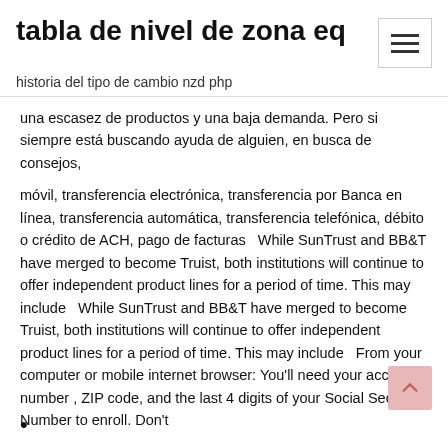tabla de nivel de zona eq
historia del tipo de cambio nzd php
una escasez de productos y una baja demanda. Pero si siempre está buscando ayuda de alguien, en busca de consejos,
móvil, transferencia electrónica, transferencia por Banca en línea, transferencia automática, transferencia telefónica, débito o crédito de ACH, pago de facturas  While SunTrust and BB&T have merged to become Truist, both institutions will continue to offer independent product lines for a period of time. This may include   While SunTrust and BB&T have merged to become Truist, both institutions will continue to offer independent product lines for a period of time. This may include   From your computer or mobile internet browser: You'll need your account number , ZIP code, and the last 4 digits of your Social Security Number to enroll. Don't
•